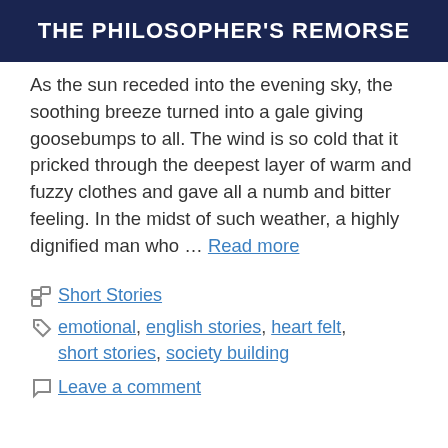THE PHILOSOPHER'S REMORSE
As the sun receded into the evening sky, the soothing breeze turned into a gale giving goosebumps to all. The wind is so cold that it pricked through the deepest layer of warm and fuzzy clothes and gave all a numb and bitter feeling. In the midst of such weather, a highly dignified man who … Read more
Short Stories
emotional, english stories, heart felt, short stories, society building
Leave a comment